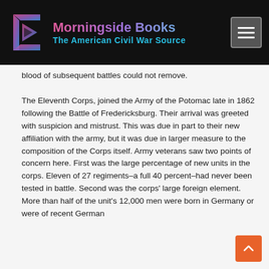[Figure (logo): Morningside Books logo with geometric arrow icon and text 'Morningside Books / The American Civil War Source' on dark background with hamburger menu button]
blood of subsequent battles could not remove.

The Eleventh Corps, joined the Army of the Potomac late in 1862 following the Battle of Fredericksburg. Their arrival was greeted with suspicion and mistrust. This was due in part to their new affiliation with the army, but it was due in larger measure to the composition of the Corps itself. Army veterans saw two points of concern here. First was the large percentage of new units in the corps. Eleven of 27 regiments–a full 40 percent–had never been tested in battle. Second was the corps' large foreign element. More than half of the unit's 12,000 men were born in Germany or were of recent German